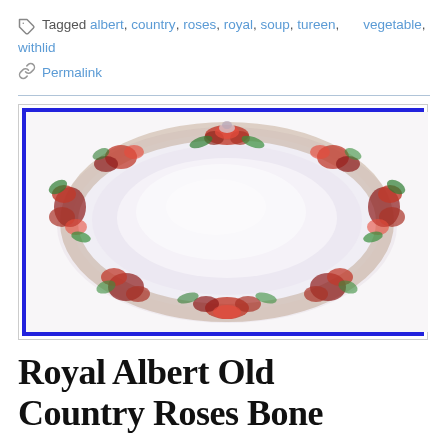Tagged albert, country, roses, royal, soup, tureen, vegetable, withlid
Permalink
[Figure (photo): Oval serving dish/tureen lid from Royal Albert Old Country Roses pattern, viewed from above. The dish has a white/cream center with a garland border of red roses and green leaves. Displayed against a blue-bordered white background.]
Royal Albert Old Country Roses Bone